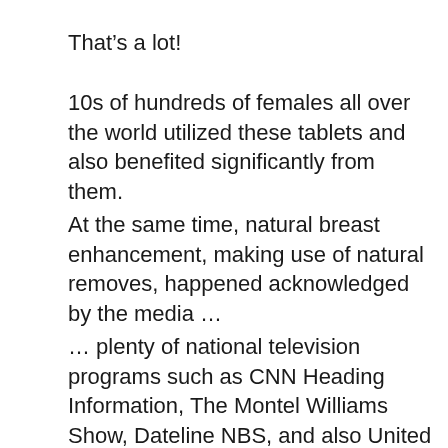That’s a lot!
10s of hundreds of females all over the world utilized these tablets and also benefited significantly from them.
At the same time, natural breast enhancement, making use of natural removes, happened acknowledged by the media …
… plenty of national television programs such as CNN Heading Information, The Montel Williams Show, Dateline NBS, and also United States Today talked about Breast Actives and also their techniques.